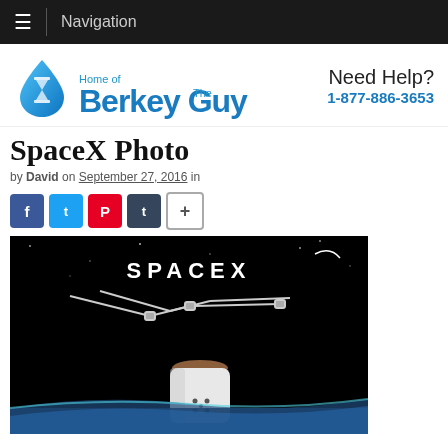Navigation
[Figure (logo): Home of The Berkey Guy logo with water drop icon]
Need Help? 1-877-886-3653
SpaceX Photo
by David on September 27, 2016 in
[Figure (infographic): Social media share buttons: Facebook, Twitter, Pinterest, Tumblr, Plus]
[Figure (photo): SpaceX branded photo showing a Dragon spacecraft capsule with robotic arm against black space background with Earth visible]